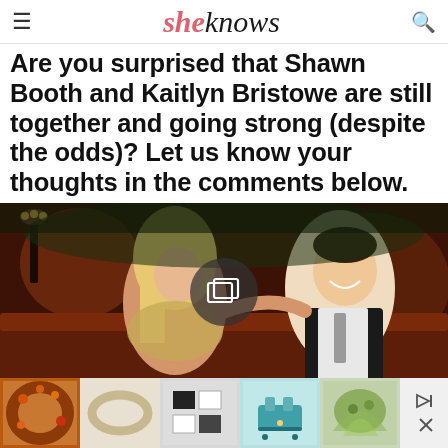sheknows
Are you surprised that Shawn Booth and Kaitlyn Bristowe are still together and going strong (despite the odds)? Let us know your thoughts in the comments below.
[Figure (photo): A blonde woman and a laughing man sitting together on a leather couch in a warmly lit room with a candelabra in the background. A circular media player icon is overlaid in the center.]
[Figure (photo): Advertisement strip with five thumbnail product images (autumn wreath, oval shape, craft supplies, teal toaster, greenery) and close/forward ad controls.]